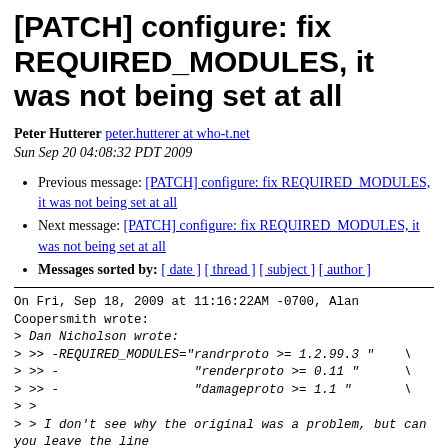[PATCH] configure: fix REQUIRED_MODULES, it was not being set at all
Peter Hutterer peter.hutterer at who-t.net
Sun Sep 20 04:08:32 PDT 2009
Previous message: [PATCH] configure: fix REQUIRED_MODULES, it was not being set at all
Next message: [PATCH] configure: fix REQUIRED_MODULES, it was not being set at all
Messages sorted by: [ date ] [ thread ] [ subject ] [ author ]
On Fri, Sep 18, 2009 at 11:16:22AM -0700, Alan Coopersmith wrote:
> Dan Nicholson wrote:
> >> -REQUIRED_MODULES="randrproto >= 1.2.99.3 "    \
> >> -                  "renderproto >= 0.11 "      \
> >> -                  "damageproto >= 1.1 "       \
> >
> > I don't see why the original was a problem, but can you leave the line